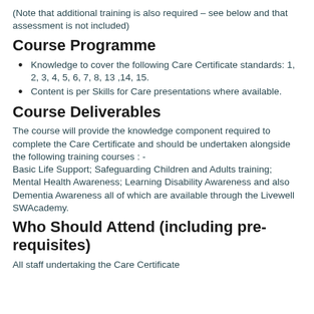(Note that additional training is also required – see below and that assessment is not included)
Course Programme
Knowledge to cover the following Care Certificate standards: 1, 2, 3, 4, 5, 6, 7, 8, 13 ,14, 15.
Content is per Skills for Care presentations where available.
Course Deliverables
The course will provide the knowledge component required to complete the Care Certificate and should be undertaken alongside the following training courses : -
Basic Life Support; Safeguarding Children and Adults training; Mental Health Awareness; Learning Disability Awareness and also Dementia Awareness all of which are available through the Livewell SWAcademy.
Who Should Attend (including pre-requisites)
All staff undertaking the Care Certificate